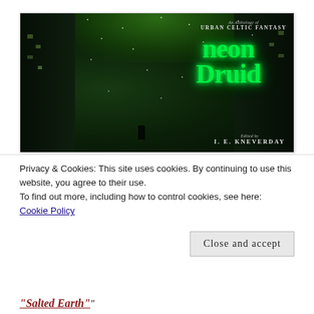[Figure (illustration): Book cover for 'Neon Druid: An Anthology of Urban Celtic Fantasy', edited by I. E. Kneverday. Dark green-tinted snowy city alley at night with glowing neon green Celtic-style title lettering.]
Privacy & Cookies: This site uses cookies. By continuing to use this website, you agree to their use.
To find out more, including how to control cookies, see here:
Cookie Policy
Close and accept
“Salted Earth”